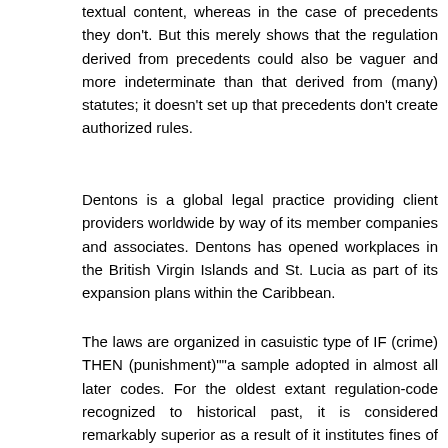textual content, whereas in the case of precedents they don't. But this merely shows that the regulation derived from precedents could also be vaguer and more indeterminate than that derived from (many) statutes; it doesn't set up that precedents don't create authorized rules.
Dentons is a global legal practice providing client providers worldwide by way of its member companies and associates. Dentons has opened workplaces in the British Virgin Islands and St. Lucia as part of its expansion plans within the Caribbean.
The laws are organized in casuistic type of IF (crime) THEN (punishment)""a sample adopted in almost all later codes. For the oldest extant regulation-code recognized to historical past, it is considered remarkably superior as a result of it institutes fines of financial compensation for bodily damage versus the later lex talionis ("˜eye for an eye fixed"™) precept of Babylonian legislation. Plaintiff – A one that brings a authorized action towards another person or entity, similar